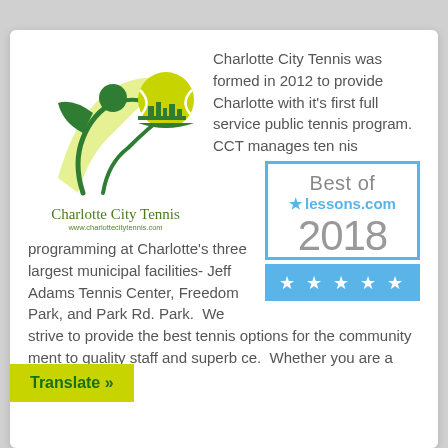[Figure (logo): Charlotte City Tennis logo with a stylized human figure and tennis ball, green and yellow colors, with text 'Charlotte City Tennis' and website www.charlottecitytennis.com]
Charlotte City Tennis was formed in 2012 to provide Charlotte with it's first full service public tennis program.  CCT manages ten nis programming at Charlotte's three largest municipal facilities- Jeff Adams Tennis Center, Freedom Park, and Park Rd. Park.  We strive to provide the best tennis options for the community ment to quality staff and superb ce.  Whether you are a junior or adult
[Figure (illustration): Best of lessons.com 2018 badge with blue border, star icon, and five white stars on blue background]
Translate »